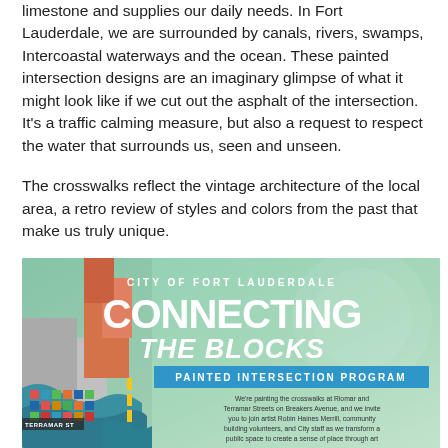limestone and supplies our daily needs.  In Fort Lauderdale, we are surrounded by canals, rivers, swamps, Intercoastal waterways and the ocean.  These painted intersection designs are an imaginary glimpse of what it might look like if we cut out the asphalt of the intersection.  It's a traffic calming measure, but also a request to respect the water that surrounds us, seen and unseen.
The crosswalks reflect the vintage architecture of the local area, a retro review of styles and colors from the past that make us truly unique.
[Figure (infographic): City of Fort Lauderdale 'Connecting the Blocks' Painted Intersection Program promotional image with decorative street art on the left and program description text on the right. Includes 'TERRAMAR ST' street label and colorful geometric crosswalk design art.]